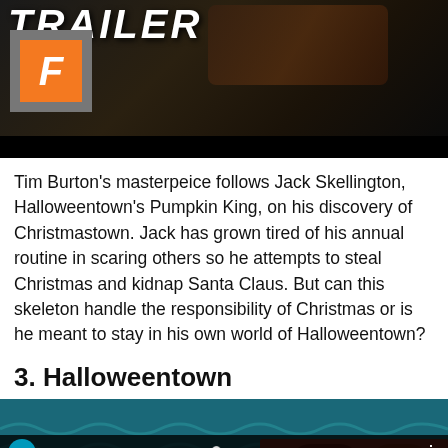[Figure (screenshot): Dark movie trailer thumbnail with 'TRAILER' text and Fandango logo (orange F), showing dark horror-themed imagery]
Tim Burton’s masterpeice follows Jack Skellington, Halloweentown’s Pumpkin King, on his discovery of Christmastown. Jack has grown tired of his annual routine in scaring others so he attempts to steal Christmas and kidnap Santa Claus. But can this skeleton handle the responsibility of Christmas or is he meant to stay in his own world of Halloweentown?
3. Halloweentown
[Figure (screenshot): Disney Channel YouTube video thumbnail showing 'First Trip to Halloweentown! | Thr...' with two children in scene]